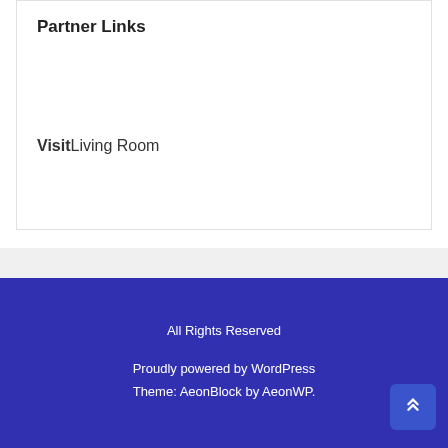Partner Links
VisitLiving Room
All Rights Reserved
Proudly powered by WordPress
Theme: AeonBlock by AeonWP.